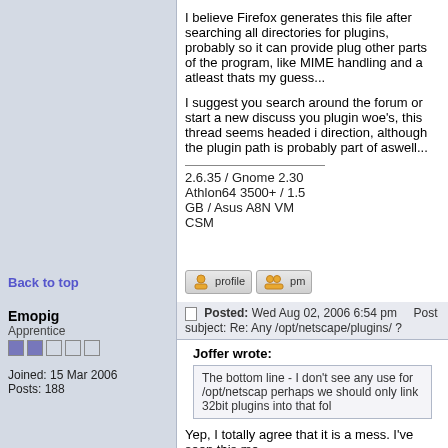I believe Firefox generates this file after searching all directories for plugins, probably so it can provide plug other parts of the program, like MIME handling and a atleast thats my guess...

I suggest you search around the forum or start a new discuss you plugin woe's, this thread seems headed i direction, although the plugin path is probably part of aswell...
2.6.35 / Gnome 2.30
Athlon64 3500+ / 1.5 GB / Asus A8N VM CSM
Back to top
[Figure (other): profile button and pm button]
Emopig
Apprentice
Joined: 15 Mar 2006
Posts: 188
Posted: Wed Aug 02, 2006 6:54 pm    Post subject: Re: Any /opt/netscape/plugins/ ?
Joffer wrote:
The bottom line - I don't see any use for /opt/netscap perhaps we should only link 32bit plugins into that fol
Yep, I totally agree that it is a mess. I've seen this me